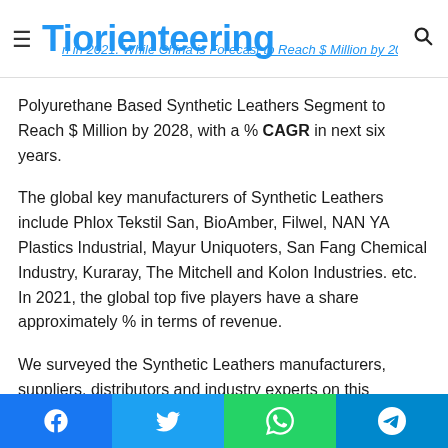Tiorienteering
Polyurethane Based Synthetic Leathers Segment to Reach $ Million by 2028, with a % CAGR in next six years.
The global key manufacturers of Synthetic Leathers include Phlox Tekstil San, BioAmber, Filwel, NAN YA Plastics Industrial, Mayur Uniquoters, San Fang Chemical Industry, Kuraray, The Mitchell and Kolon Industries. etc. In 2021, the global top five players have a share approximately % in terms of revenue.
We surveyed the Synthetic Leathers manufacturers, suppliers, distributors and industry experts on this industry, involving the